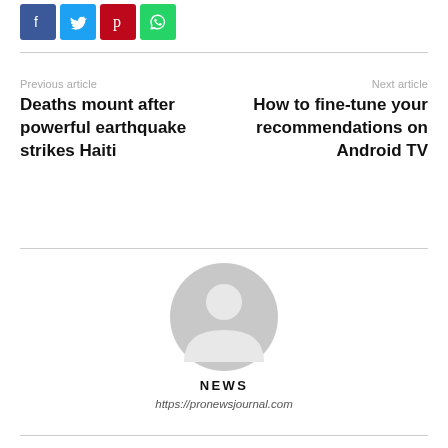[Figure (other): Row of four social sharing icon buttons: Facebook (blue), Twitter (light blue), Pinterest (red), WhatsApp (green)]
Previous article
Deaths mount after powerful earthquake strikes Haiti
Next article
How to fine-tune your recommendations on Android TV
[Figure (illustration): Generic user avatar icon — gray circle with silhouette of a person]
NEWS
https://pronewsjournal.com